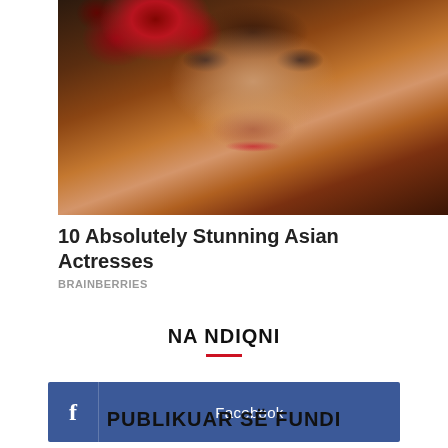[Figure (photo): Portrait photo of a woman with red roses in her dark hair, heavy eye makeup, and red lipstick, against a warm golden background]
10 Absolutely Stunning Asian Actresses
BRAINBERRIES
NA NDIQNI
[Figure (other): Facebook follow button, blue rectangle with Facebook logo icon and text 'Facebook']
PUBLIKUAR SË FUNDI